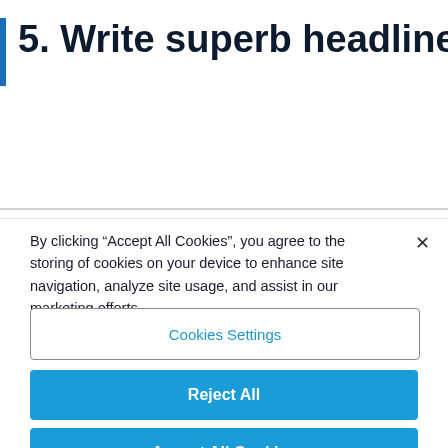5. Write superb headlines
By clicking “Accept All Cookies”, you agree to the storing of cookies on your device to enhance site navigation, analyze site usage, and assist in our marketing efforts.
Cookies Settings
Reject All
Accept All Cookies